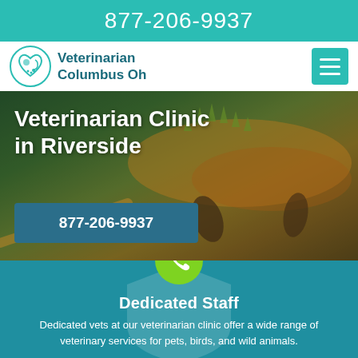877-206-9937
Veterinarian Columbus Oh
[Figure (screenshot): Hero image showing a lizard/iguana on a dark green background with overlaid title text and phone button]
Veterinarian Clinic in Riverside
877-206-9937
Dedicated Staff
Dedicated vets at our veterinarian clinic offer a wide range of veterinary services for pets, birds, and wild animals.